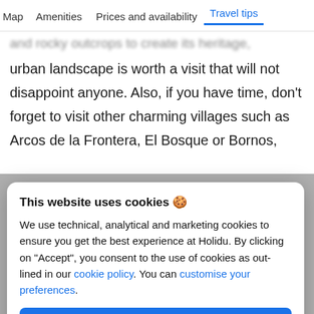Map   Amenities   Prices and availability   Travel tips
and rocky outcrops to create its heritage, [blurred] urban landscape is worth a visit that will not disappoint anyone. Also, if you have time, don't forget to visit other charming villages such as Arcos de la Frontera, El Bosque or Bornos,
This website uses cookies 🍪
We use technical, analytical and marketing cookies to ensure you get the best experience at Holidu. By clicking on "Accept", you consent to the use of cookies as out-lined in our cookie policy. You can customise your preferences.
Accept